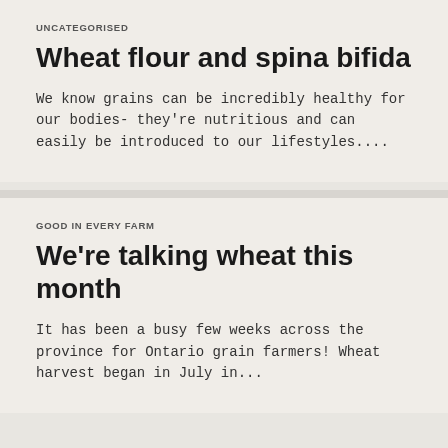UNCATEGORISED
Wheat flour and spina bifida
We know grains can be incredibly healthy for our bodies- they're nutritious and can easily be introduced to our lifestyles....
GOOD IN EVERY FARM
We're talking wheat this month
It has been a busy few weeks across the province for Ontario grain farmers! Wheat harvest began in July in...